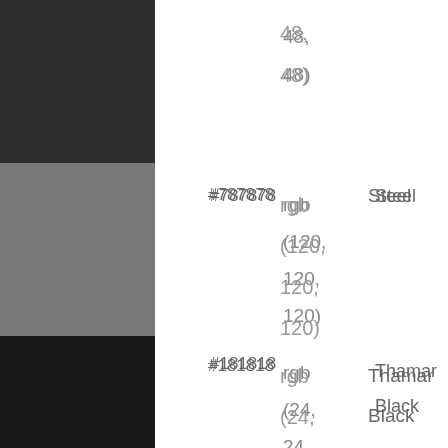| Swatch | Hex | RGB | Name |
| --- | --- | --- | --- |
| (dark gray swatch) |  | rgb (48, 48) |  |
| (medium gray swatch) | #787878 | rgb (120, 120, 120) | Steel |
| (black swatch) | #181818 | rgb (24, 24, 24) | Thamar Black |
| (light gray swatch) | #d8d8d8 | rgb (216, | Sunny Pavement |